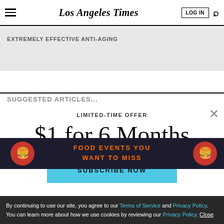Los Angeles Times
EXTREMELY EFFECTIVE ANTI-AGING
LIMITED-TIME OFFER
$1 for 6 Months
SUBSCRIBE NOW
[Figure (infographic): Food events advertisement banner at bottom]
By continuing to use our site, you agree to our Terms of Service and Privacy Policy. You can learn more about how we use cookies by reviewing our Privacy Policy. Close